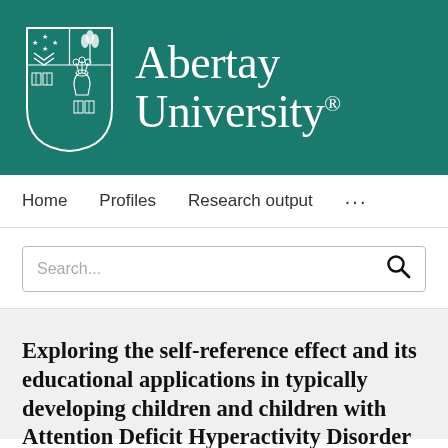[Figure (logo): Abertay University logo with shield crest and university name in white on teal background]
Home   Profiles   Research output   ...
Search...
Exploring the self-reference effect and its educational applications in typically developing children and children with Attention Deficit Hyperactivity Disorder